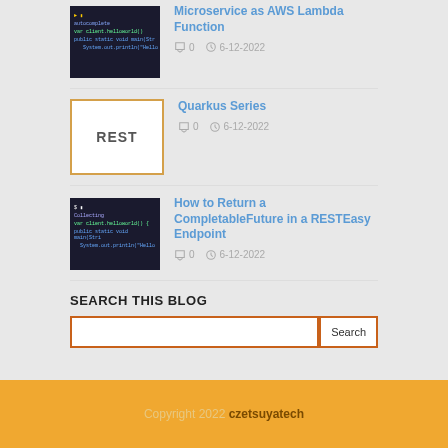[Figure (screenshot): Dark code editor screenshot thumbnail for Microservice as AWS Lambda Function post]
Microservice as AWS Lambda Function
0  6-12-2022
[Figure (illustration): White box with orange border showing REST text thumbnail for Quarkus Series post]
Quarkus Series
0  6-12-2022
[Figure (screenshot): Dark code editor screenshot thumbnail for How to Return a CompletableFuture post]
How to Return a CompletableFuture in a RESTEasy Endpoint
0  6-12-2022
SEARCH THIS BLOG
Copyright 2022 czetsuyatech